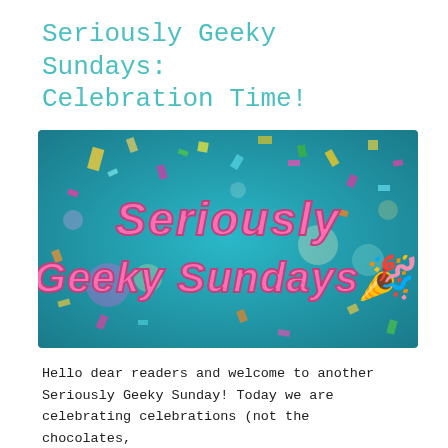Seriously Geeky Sundays: Celebration Time!
[Figure (illustration): Banner image with teal background, confetti scattered throughout, and pink bubbly text reading 'Seriously Geeky Sundays' with a party hat emoji]
Hello dear readers and welcome to another Seriously Geeky Sunday! Today we are celebrating celebrations (not the chocolates, although they are also good), so why not join